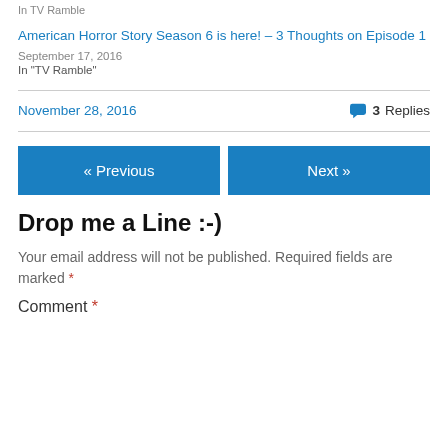In  TV Ramble
American Horror Story Season 6 is here! – 3 Thoughts on Episode 1
September 17, 2016
In "TV Ramble"
November 28, 2016
3 Replies
« Previous
Next »
Drop me a Line :-)
Your email address will not be published. Required fields are marked *
Comment *